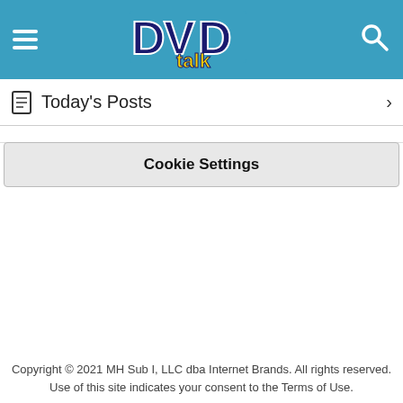DVD talk — Today's Posts
Cookie Settings
Copyright © 2021 MH Sub I, LLC dba Internet Brands. All rights reserved. Use of this site indicates your consent to the Terms of Use.